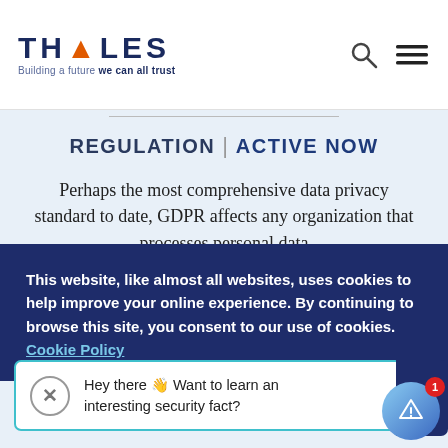[Figure (logo): Thales logo with tagline 'Building a future we can all trust']
REGULATION | ACTIVE NOW
Perhaps the most comprehensive data privacy standard to date, GDPR affects any organization that processes personal data
This website, like almost all websites, uses cookies to help improve your online experience. By continuing to browse this site, you consent to our use of cookies. Cookie Policy
Hey there 👋 Want to learn an interesting security fact?